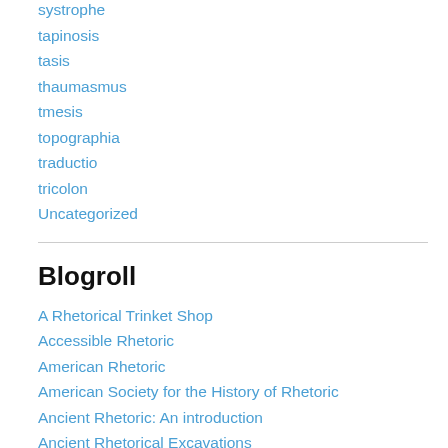systrophe
tapinosis
tasis
thaumasmus
tmesis
topographia
traductio
tricolon
Uncategorized
Blogroll
A Rhetorical Trinket Shop
Accessible Rhetoric
American Rhetoric
American Society for the History of Rhetoric
Ancient Rhetoric: An introduction
Ancient Rhetorical Excavations
Aristotle On Interpretation